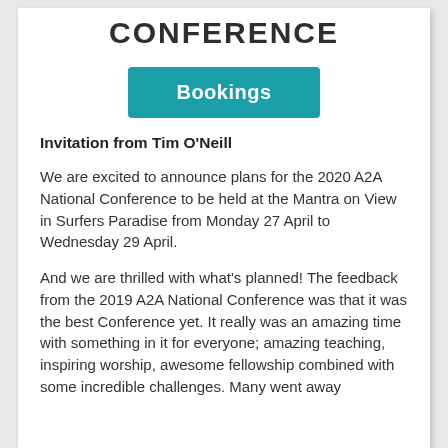CONFERENCE
[Figure (other): Teal/turquoise button labeled 'Bookings']
Invitation from Tim O'Neill
We are excited to announce plans for the 2020 A2A National Conference to be held at the Mantra on View in Surfers Paradise from Monday 27 April to Wednesday 29 April.
And we are thrilled with what's planned! The feedback from the 2019 A2A National Conference was that it was the best Conference yet. It really was an amazing time with something in it for everyone; amazing teaching, inspiring worship, awesome fellowship combined with some incredible challenges. Many went away